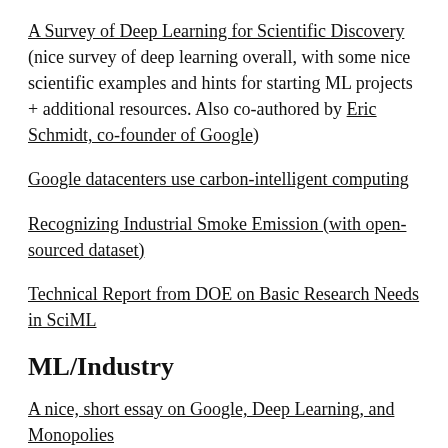A Survey of Deep Learning for Scientific Discovery (nice survey of deep learning overall, with some nice scientific examples and hints for starting ML projects + additional resources. Also co-authored by Eric Schmidt, co-founder of Google)
Google datacenters use carbon-intelligent computing
Recognizing Industrial Smoke Emission (with open-sourced dataset)
Technical Report from DOE on Basic Research Needs in SciML
ML/Industry
A nice, short essay on Google, Deep Learning, and Monopolies